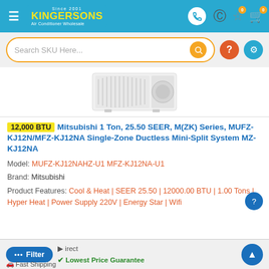Kingersons Air Conditioner Wholesale - Since 2001
[Figure (screenshot): Search bar with placeholder 'Search SKU Here...' and orange search button, alongside help and wrench icon buttons]
[Figure (photo): Product photo of Mitsubishi outdoor mini-split unit, white rectangular box shape with vents]
12,000 BTU Mitsubishi 1 Ton, 25.50 SEER, M(ZK) Series, MUFZ-KJ12N/MFZ-KJ12NA Single-Zone Ductless Mini-Split System MZ-KJ12NA
Model: MUFZ-KJ12NAHZ-U1 MFZ-KJ12NA-U1
Brand: Mitsubishi
Product Features: Cool & Heat | SEER 25.50 | 12000.00 BTU | 1.00 Tons | Hyper Heat | Power Supply 220V | Energy Star | Wifi
Filter | Direct | Lowest Price Guarantee | Fast Shipping